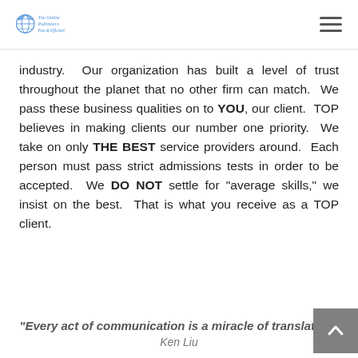The Online Publishers - Fast & Efficient
industry.  Our organization has built a level of trust throughout the planet that no other firm can match.  We pass these business qualities on to YOU, our client.  TOP believes in making clients our number one priority.  We take on only THE BEST service providers around.  Each person must pass strict admissions tests in order to be accepted.  We DO NOT settle for "average skills," we insist on the best.  That is what you receive as a TOP client.
"Every act of communication is a miracle of translation"
Ken Liu